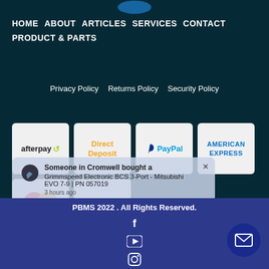HOME  ABOUT  ARTICLES  SERVICES  CONTACT  PRODUCT & PARTS
Privacy Policy   Returns Policy   Security Policy
[Figure (illustration): Payment method icons: afterpay, Direct Deposit, PayPal, American Express, MasterCard, VISA]
[Figure (infographic): Purchase notification popup: Someone in Cromwell bought a Grimmspeed Electronic BCS 3-Port - Mitsubishi EVO 7-9 | PN 057019, 3 hours ago]
PBMS 2022 . All Rights Reserved.
[Figure (illustration): Social media icons: Facebook, YouTube, Instagram]
[Figure (illustration): Mail/envelope contact button (round dark blue button, bottom right)]